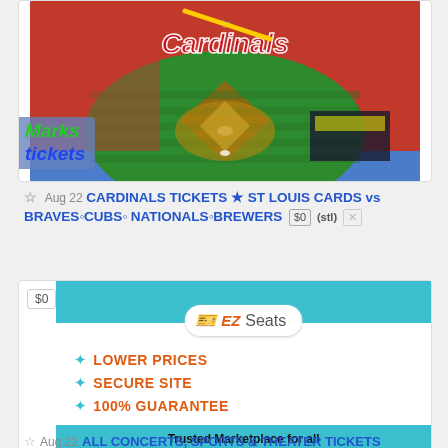[Figure (photo): Aerial view of St. Louis Cardinals baseball stadium filled with fans, with Cardinals team logo overlay and 'Marks Tickets' branding overlay in lower left]
Aug 22  CARDINALS TICKETS ★ ST LOUIS CARDS vs BRAVES◦CUBS◦ NATIONALS◦BREWERS  $0  (stl)  ✕
[Figure (infographic): EZ Seats advertisement banner with teal header, EZ Seats logo pill, bullet points: LOWER PRICES, SECURE SITE, 100% GUARANTEE, and a teal footer bar reading 'Trusted Marketplace for all Concerts, Sports & Theater Tickets']
Aug 22  ALL CONCERTS, SPORTS & THEATER TICKETS